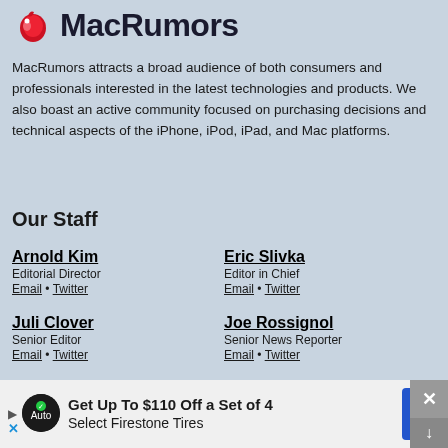[Figure (logo): MacRumors logo with red apple icon and bold dark text]
MacRumors attracts a broad audience of both consumers and professionals interested in the latest technologies and products. We also boast an active community focused on purchasing decisions and technical aspects of the iPhone, iPod, iPad, and Mac platforms.
Our Staff
Arnold Kim
Editorial Director
Email • Twitter
Eric Slivka
Editor in Chief
Email • Twitter
Juli Clover
Senior Editor
Email • Twitter
Joe Rossignol
Senior News Reporter
Email • Twitter
Mitchel Broussard
Deals Editor
Email • Twitter
Tim Hardwick
Senior Editor
Email • Twitter
Hartley Cl...
Editor
Email • Tw...
[Figure (other): Advertisement banner: Get Up To $110 Off a Set of 4 Select Firestone Tires]